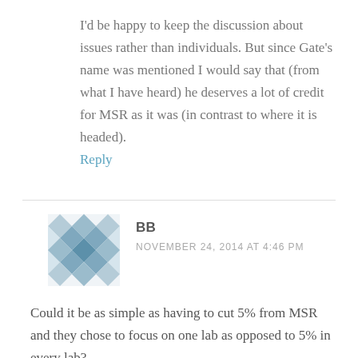I'd be happy to keep the discussion about issues rather than individuals. But since Gate's name was mentioned I would say that (from what I have heard) he deserves a lot of credit for MSR as it was (in contrast to where it is headed).
Reply
[Figure (illustration): Avatar image for user BB — a decorative geometric diamond/cross pattern in muted blue-grey tones]
BB
NOVEMBER 24, 2014 AT 4:46 PM
Could it be as simple as having to cut 5% from MSR and they chose to focus on one lab as opposed to 5% in every lab?